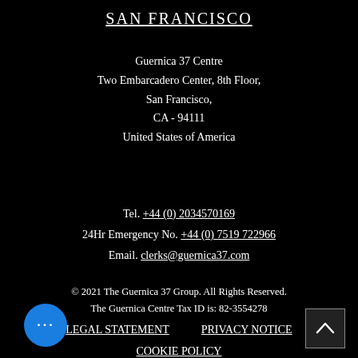SAN FRANCISCO
Guernica 37 Centre
Two Embarcadero Center, 8th Floor,
San Francisco,
CA - 94111
United States of America
Tel. +44 (0) 2034570169
24Hr Emergency No. +44 (0) 7519 722966
Email. clerks@guernica37.com
© 2021 The Guernica 37 Group. All Rights Reserved.
The Guernica Centre Tax ID is: 82-3554278
LEGAL STATEMENT   PRIVACY NOTICE
COOKIE POLICY